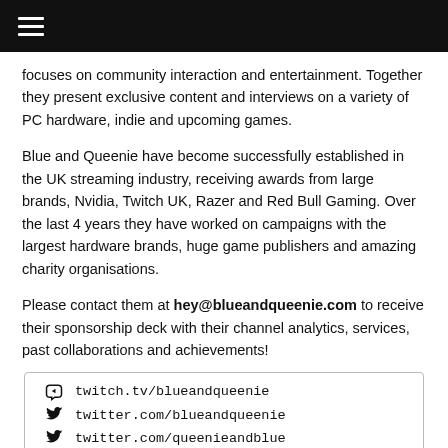focuses on community interaction and entertainment. Together they present exclusive content and interviews on a variety of PC hardware, indie and upcoming games.
Blue and Queenie have become successfully established in the UK streaming industry, receiving awards from large brands, Nvidia, Twitch UK, Razer and Red Bull Gaming. Over the last 4 years they have worked on campaigns with the largest hardware brands, huge game publishers and amazing charity organisations.
Please contact them at hey@blueandqueenie.com to receive their sponsorship deck with their channel analytics, services, past collaborations and achievements!
twitch.tv/blueandqueenie
twitter.com/blueandqueenie
twitter.com/queenieandblue
tiktok.com/@blueandqueenie